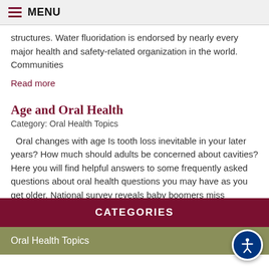MENU
structures. Water fluoridation is endorsed by nearly every major health and safety-related organization in the world. Communities
Read more
Age and Oral Health
Category: Oral Health Topics
Oral changes with age Is tooth loss inevitable in your later years? How much should adults be concerned about cavities? Here you will find helpful answers to some frequently asked questions about oral health questions you may have as you get older. National survey reveals baby boomers miss
Read more
CATEGORIES
Oral Health Topics